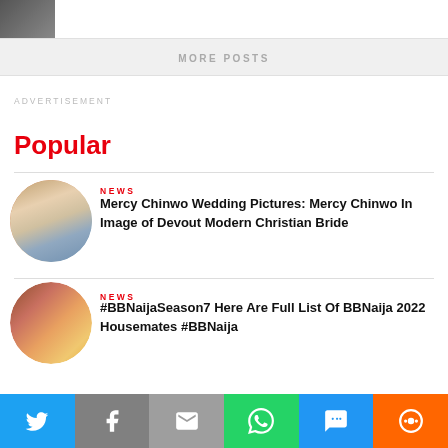[Figure (photo): Thumbnail image of a person]
MORE POSTS
ADVERTISEMENT
Popular
NEWS
[Figure (photo): Circular thumbnail of Mercy Chinwo in wedding attire]
Mercy Chinwo Wedding Pictures: Mercy Chinwo In Image of Devout Modern Christian Bride
NEWS
[Figure (photo): Circular thumbnail of BBNaija Season 7 housemates]
#BBNaijaSeason7 Here Are Full List Of BBNaija 2022 Housemates #BBNaija
Twitter | Facebook | Email | WhatsApp | SMS | More